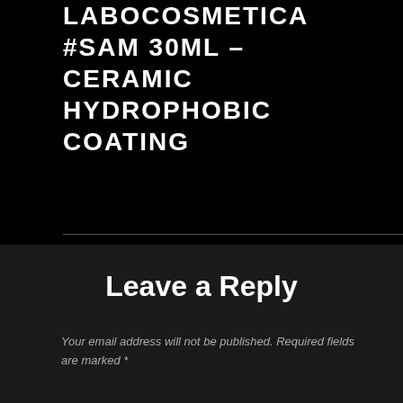LABOCOSMETICA #SAM 30ML – CERAMIC HYDROPHOBIC COATING
Leave a Reply
Your email address will not be published. Required fields are marked *